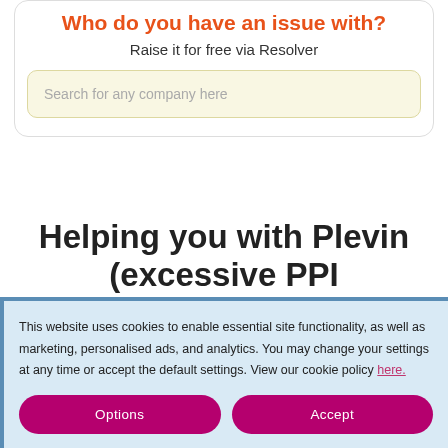Who do you have an issue with?
Raise it for free via Resolver
Search for any company here
Helping you with Plevin (excessive PPI commission)
This website uses cookies to enable essential site functionality, as well as marketing, personalised ads, and analytics. You may change your settings at any time or accept the default settings. View our cookie policy here.
Options
Accept